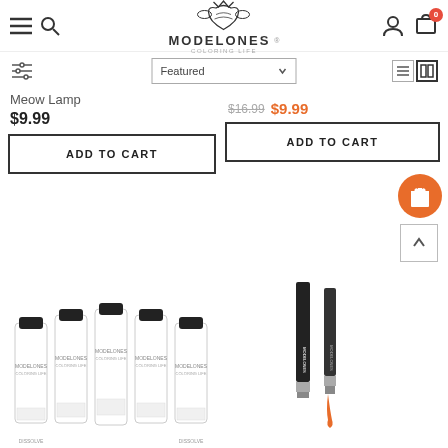[Figure (logo): Modelones Coloring Life brand logo with bee icon]
[Figure (screenshot): Featured filter dropdown and view toggle icons]
Meow Lamp
$9.99
ADD TO CART
$16.99  $9.99
ADD TO CART
[Figure (photo): 5 Modelones nail polish bottles grouped together]
[Figure (photo): Modelones dual-ended nail art brush pen]